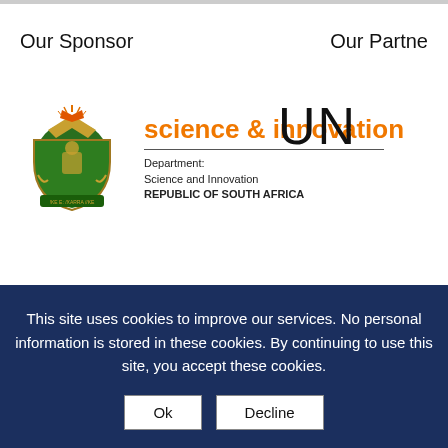Our Sponsor
Our Partner
[Figure (logo): Department of Science and Innovation, Republic of South Africa logo with coat of arms and orange text 'science & innovation']
[Figure (logo): Partial UN logo text visible (UN)]
[Figure (logo): Partial ICE (Inter-Institutional) logo with teal circular icon]
This site uses cookies to improve our services. No personal information is stored in these cookies. By continuing to use this site, you accept these cookies.